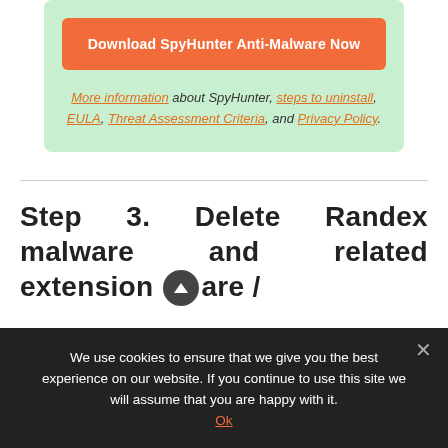[Figure (other): Orange download button labeled 'Download SpyHunter Anti-Malware Now' inside a green rounded box]
More information about SpyHunter, steps to uninstall, EULA, Threat Assessment Criteria, and Privacy Policy.
Step 3. Delete Randex malware and related extension ware /
We use cookies to ensure that we give you the best experience on our website. If you continue to use this site we will assume that you are happy with it.
Ok